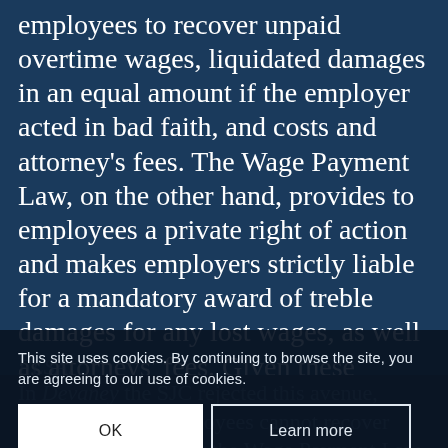employees to recover unpaid overtime wages, liquidated damages in an equal amount if the employer acted in bad faith, and costs and attorney's fees. The Wage Payment Law, on the other hand, provides to employees a private right of action and makes employers strictly liable for a mandatory award of treble damages for any lost wages, as well as attorneys' fees. Given these differences, employees who are not exempt under the FLSA often try to use the Wage Act to receive higher recoveries even where their claim for overtime wages rests solely on the FLSA.
This site uses cookies. By continuing to browse the site, you are agreeing to our use of cookies.
In Devaney the SJC rejected this avenue, concluding that employees cannot recover treble damages under the Wage Payment Law when the employer's conduct is...